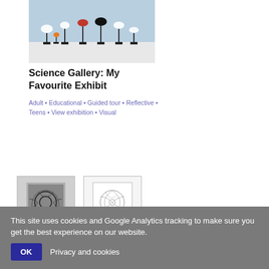[Figure (photo): Photo of bird sculptures on stands displayed in a gallery setting, with white and coloured bird figures on dark pedestals against a blue-lit background.]
Science Gallery: My Favourite Exhibit
Adult • Educational • Guided tour • Reflective • Teens • View exhibition • Visual
Add to my list
[Figure (photo): Black and white photograph of a dense floral/botanical artwork displayed on a stand.]
[Figure (illustration): Line drawing sketch of a floral/botanical artwork displayed on a stand.]
Erica Hestu (1974 - 1973)
Sketches associated with the exhibition
This site uses cookies and Google Analytics tracking to make sure you get the best experience on our website.
OK
Privacy and cookies